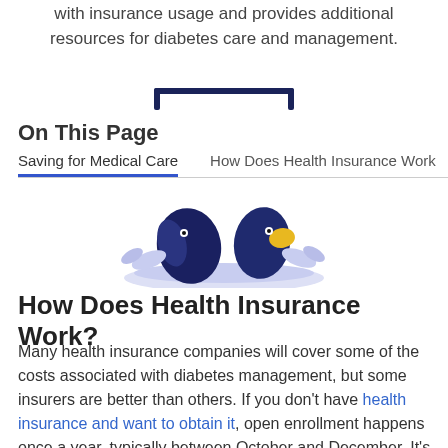with insurance usage and provides additional resources for diabetes care and management.
On This Page
Saving for Medical Care    How Does Health Insurance Work
[Figure (illustration): Decorative illustration showing stylized birds or figures in blue and yellow tones with foliage]
How Does Health Insurance Work?
Many health insurance companies will cover some of the costs associated with diabetes management, but some insurers are better than others. If you don't have health insurance and want to obtain it, open enrollment happens once a year, typically between October and December. It's important to shop around and understand the diabetes